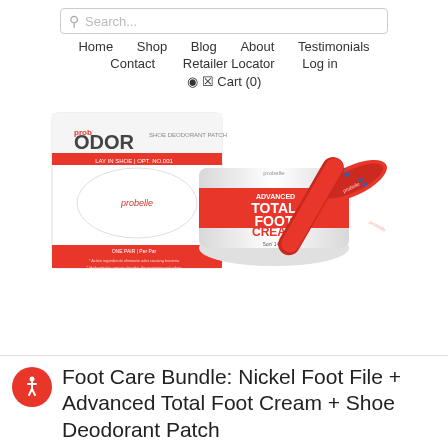Search...
Home  Shop  Blog  About  Testimonials  Contact  Retailer Locator  Log in  Cart (0)
[Figure (photo): Product photo showing Probelle shoe odor deodorant patch in red and white packaging, Probelle Advanced Total Foot Cream in a white tub with red labeling, and a red Probelle foot file tool.]
Foot Care Bundle: Nickel Foot File + Advanced Total Foot Cream + Shoe Deodorant Patch